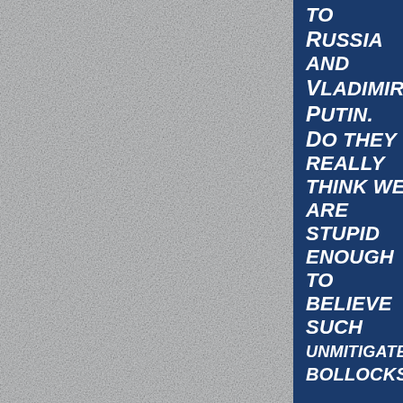[Figure (illustration): Gray textured plaster/concrete background filling the left portion of the page]
to Russia and Vladimir Putin. Do they really think we are stupid enough to believe such unmitigated bollocks? ...